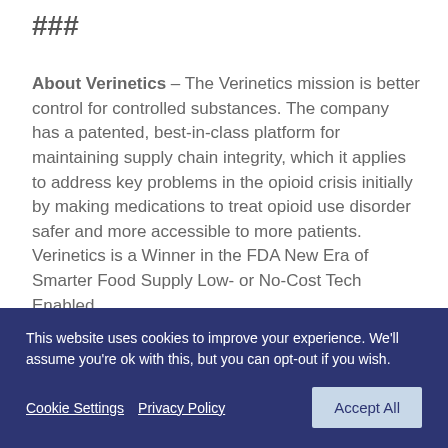###
About Verinetics – The Verinetics mission is better control for controlled substances. The company has a patented, best-in-class platform for maintaining supply chain integrity, which it applies to address key problems in the opioid crisis initially by making medications to treat opioid use disorder safer and more accessible to more patients. Verinetics is a Winner in the FDA New Era of Smarter Food Supply Low- or No-Cost Tech Enabled
This website uses cookies to improve your experience. We'll assume you're ok with this, but you can opt-out if you wish.
Cookie Settings   Privacy Policy   Accept All